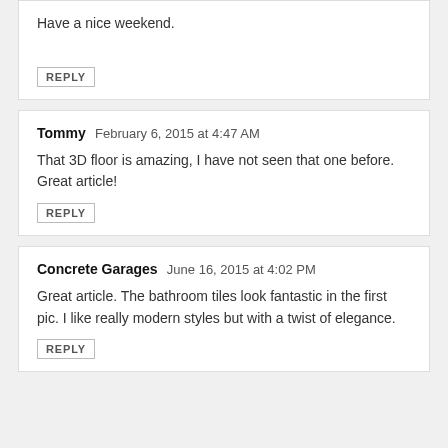Have a nice weekend.
REPLY
Tommy  February 6, 2015 at 4:47 AM
That 3D floor is amazing, I have not seen that one before. Great article!
REPLY
Concrete Garages  June 16, 2015 at 4:02 PM
Great article. The bathroom tiles look fantastic in the first pic. I like really modern styles but with a twist of elegance.
REPLY